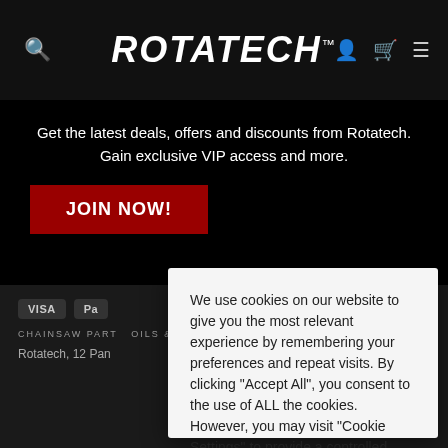ROTATECH™
Get the latest deals, offers and discounts from Rotatech. Gain exclusive VIP access and more.
JOIN NOW!
VISA  Pa...
CHAINSAW PART  OILS & LUBRI  SUBSCRIBE  TR
Rotatech, 12 Pan...
We use cookies on our website to give you the most relevant experience by remembering your preferences and repeat visits. By clicking "Accept All", you consent to the use of ALL the cookies. However, you may visit "Cookie Settings" to provide a controlled consent.
Cookie Settings
Accept All